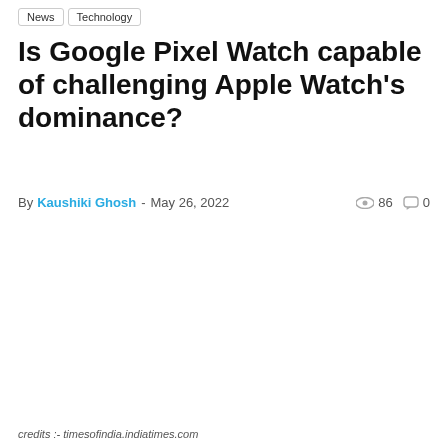News | Technology
Is Google Pixel Watch capable of challenging Apple Watch's dominance?
By Kaushiki Ghosh - May 26, 2022  👁 86  💬 0
credits :- timesofindia.indiatimes.com